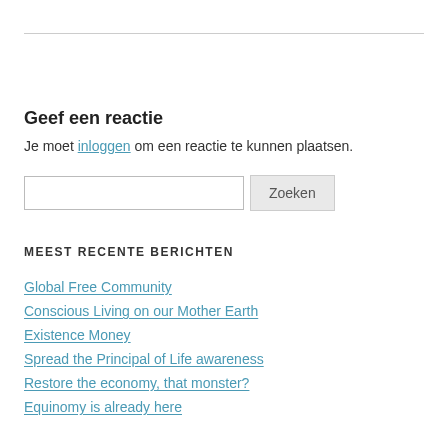Geef een reactie
Je moet inloggen om een reactie te kunnen plaatsen.
MEEST RECENTE BERICHTEN
Global Free Community
Conscious Living on our Mother Earth
Existence Money
Spread the Principal of Life awareness
Restore the economy, that monster?
Equinomy is already here